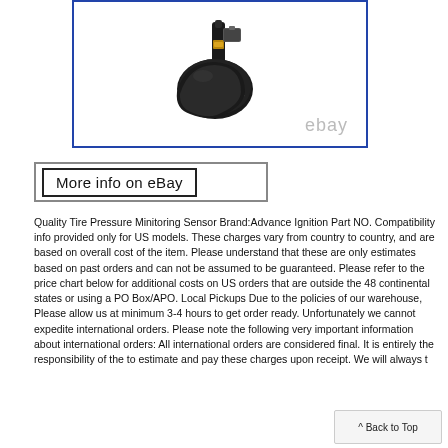[Figure (photo): A tire pressure monitoring sensor (TPMS) — black plastic and metal component — shown against a white background inside a blue-bordered product image frame. The eBay watermark appears in the lower right of the image.]
[Figure (screenshot): A clickable button/image saying 'More info on eBay' with a bordered box style.]
Quality Tire Pressure Minitoring Sensor Brand:Advance Ignition Part NO. Compatibility info provided only for US models. These charges vary from country to country, and are based on overall cost of the item. Please understand that these are only estimates based on past orders and can not be assumed to be guaranteed. Please refer to the price chart below for additional costs on US orders that are outside the 48 continental states or using a PO Box/APO. Local Pickups Due to the policies of our warehouse, Please allow us at minimum 3-4 hours to get order ready. Unfortunately we cannot expedite international orders. Please note the following very important information about international orders: All international orders are considered final. It is entirely the responsibility of the to estimate and pay these charges upon receipt. We will always t